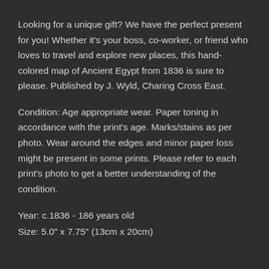Looking for a unique gift? We have the perfect present for you! Whether it's your boss, co-worker, or friend who loves to travel and explore new places, this hand-colored map of Ancient Egypt from 1836 is sure to please. Published by J. Wyld, Charing Cross East.
Condition: Age appropriate wear. Paper toning in accordance with the print's age. Marks/stains as per photo. Wear around the edges and minor paper loss might be present in some prints. Please refer to each print's photo to get a better understanding of the condition.
Year: c.1836 - 186 years old
Size: 5.0" x 7.75" (13cm x 20cm)